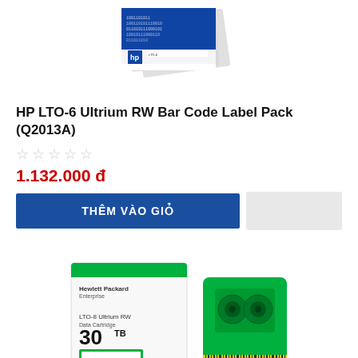[Figure (photo): HP LTO-6 Ultrium RW Bar Code Label Pack product image showing stacked label packs with binary code pattern on blue background]
HP LTO-6 Ultrium RW Bar Code Label Pack (Q2013A)
☆☆☆☆☆
1.132.000 đ
THÊM VÀO GIỎ
[Figure (photo): HP LTO-8 Ultrium RW Data Cartridge 30TB box and green tape cartridge product image]